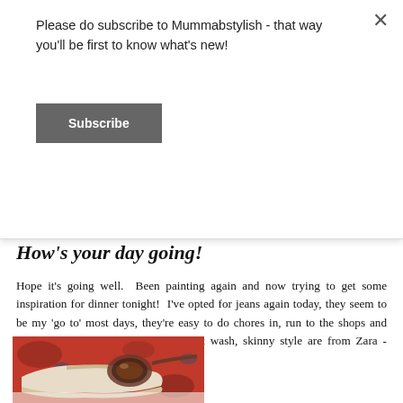Please do subscribe to Mummabstylish - that way you'll be first to know what's new!
Subscribe
How's your day going!
Hope it's going well.  Been painting again and now trying to get some inspiration for dinner tonight!  I've opted for jeans again today, they seem to be my 'go to' most days, they're easy to do chores in, run to the shops and generally slope about in.  These dark wash, skinny style are from Zara - fabulous fit to boot!
[Figure (photo): Flat lay photo of cream/beige loafer shoes and brown-toned sunglasses on a red and blue paisley fabric background]